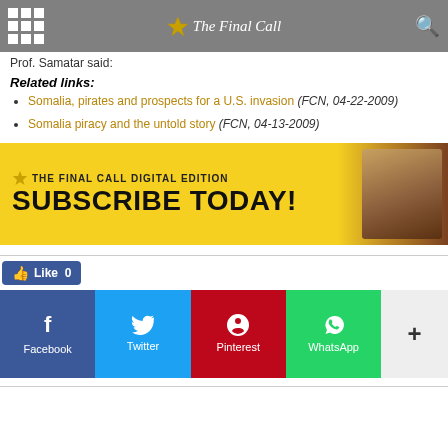The Final Call
Prof. Samatar said:
Related links:
Somalia, pirates and prospects for a U.S. invasion (FCN, 04-22-2009)
Somalia piracy and the untold story (FCN, 04-13-2009)
[Figure (infographic): The Final Call Digital Edition - Subscribe Today! banner advertisement with yellow background and photo of person holding a magazine]
[Figure (infographic): Social sharing buttons: Facebook (blue), Twitter (light blue), Pinterest (red), WhatsApp (green), and more (+) button, plus a Like 0 Facebook button above]